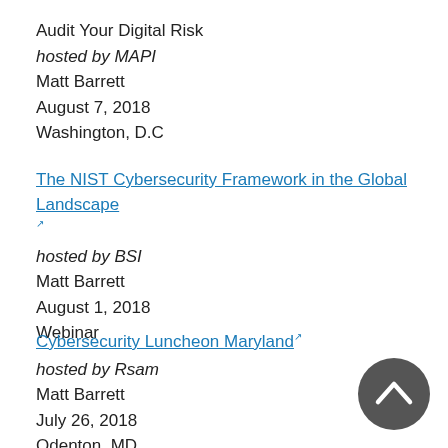Audit Your Digital Risk
hosted by MAPI
Matt Barrett
August 7, 2018
Washington, D.C
The NIST Cybersecurity Framework in the Global Landscape (link is external)
hosted by BSI
Matt Barrett
August 1, 2018
Webinar
Cybersecurity Luncheon Maryland (link is external)
hosted by Rsam
Matt Barrett
July 26, 2018
Odenton, MD
[Figure (other): Back to top button - dark grey circular button with upward chevron arrow]